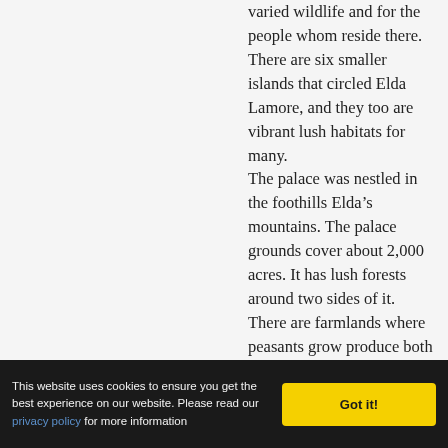varied wildlife and for the people whom reside there. There are six smaller islands that circled Elda Lamore, and they too are vibrant lush habitats for many. The palace was nestled in the foothills Elda’s mountains. The palace grounds cover about 2,000 acres. It has lush forests around two sides of it. There are farmlands where peasants grow produce both for the royal family and servants, but also enough to feed everyone on the island. Nearer to
This website uses cookies to ensure you get the best experience on our website. Please read our privacy policy for more information  Got it!